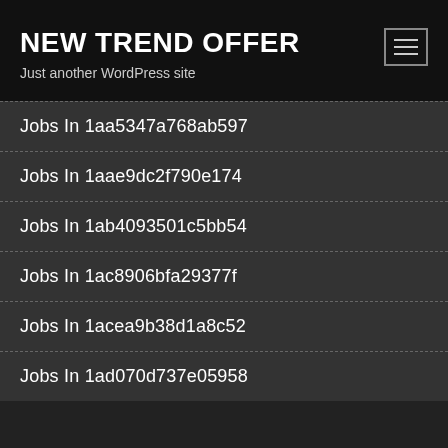NEW TREND OFFER
Just another WordPress site
Jobs In 1aa5347a768ab597
Jobs In 1aae9dc2f790e174
Jobs In 1ab4093501c5bb54
Jobs In 1ac8906bfa29377f
Jobs In 1acea9b38d1a8c52
Jobs In 1ad070d737e05958